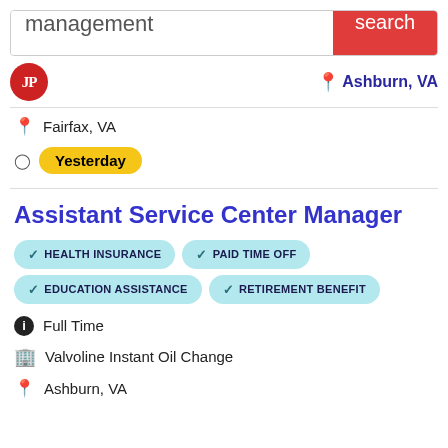[Figure (screenshot): Search bar with text 'management' and red 'search' button]
[Figure (logo): Red circular JP logo]
Ashburn, VA
Fairfax, VA
Yesterday
Assistant Service Center Manager
HEALTH INSURANCE
PAID TIME OFF
EDUCATION ASSISTANCE
RETIREMENT BENEFIT
Full Time
Valvoline Instant Oil Change
Ashburn, VA